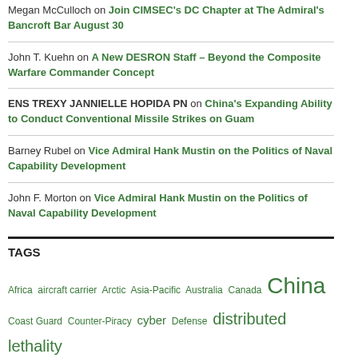Megan McCulloch on Join CIMSEC's DC Chapter at The Admiral's Bancroft Bar August 30
John T. Kuehn on A New DESRON Staff – Beyond the Composite Warfare Commander Concept
ENS TREXY JANNIELLE HOPIDA PN on China's Expanding Ability to Conduct Conventional Missile Strikes on Guam
Barney Rubel on Vice Admiral Hank Mustin on the Politics of Naval Capability Development
John F. Morton on Vice Admiral Hank Mustin on the Politics of Naval Capability Development
TAGS
Africa aircraft carrier Arctic Asia-Pacific Australia Canada China Coast Guard Counter-Piracy cyber Defense distributed lethality drones events Force Planning History India Innovation Iran Japan NATO N...